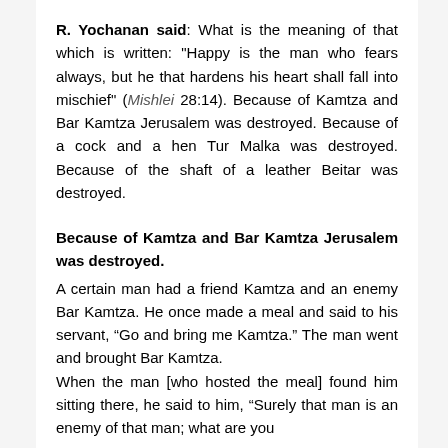R. Yochanan said: What is the meaning of that which is written: "Happy is the man who fears always, but he that hardens his heart shall fall into mischief" (Mishlei 28:14). Because of Kamtza and Bar Kamtza Jerusalem was destroyed. Because of a cock and a hen Tur Malka was destroyed. Because of the shaft of a leather Beitar was destroyed.
Because of Kamtza and Bar Kamtza Jerusalem was destroyed.
A certain man had a friend Kamtza and an enemy Bar Kamtza. He once made a meal and said to his servant, “Go and bring me Kamtza.” The man went and brought Bar Kamtza.
When the man [who hosted the meal] found him sitting there, he said to him, “Surely that man is an enemy of that man; what are you